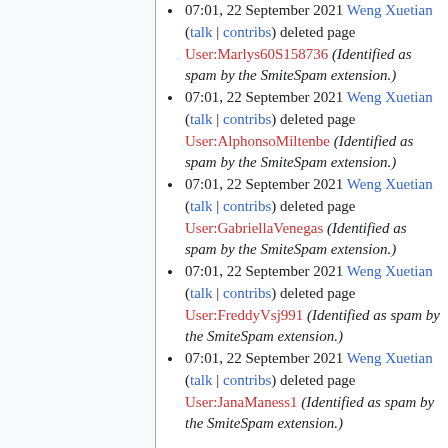07:01, 22 September 2021 Weng Xuetian (talk | contribs) deleted page User:Marlys60S158736 (Identified as spam by the SmiteSpam extension.)
07:01, 22 September 2021 Weng Xuetian (talk | contribs) deleted page User:AlphonsoMiltenbe (Identified as spam by the SmiteSpam extension.)
07:01, 22 September 2021 Weng Xuetian (talk | contribs) deleted page User:GabriellaVenegas (Identified as spam by the SmiteSpam extension.)
07:01, 22 September 2021 Weng Xuetian (talk | contribs) deleted page User:FreddyVsj991 (Identified as spam by the SmiteSpam extension.)
07:01, 22 September 2021 Weng Xuetian (talk | contribs) deleted page User:JanaManess1 (Identified as spam by the SmiteSpam extension.)